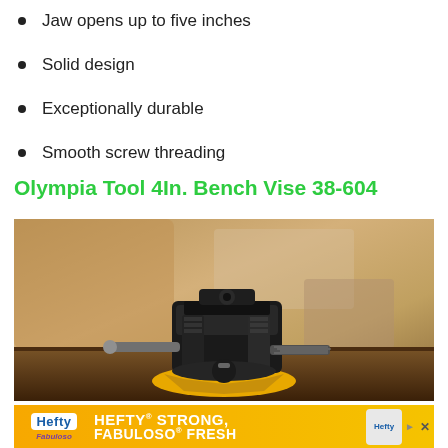Jaw opens up to five inches
Solid design
Exceptionally durable
Smooth screw threading
Olympia Tool 4In. Bench Vise 38-604
[Figure (photo): Olympia Tool 4-inch bench vise with black cast iron body and yellow base, sitting on a wooden workbench surface with blurred workshop background]
[Figure (other): Hefty advertisement banner: orange/yellow background with Hefty and Fabuloso branding, text reading HEFTY STRONG, FABULOSO FRESH]